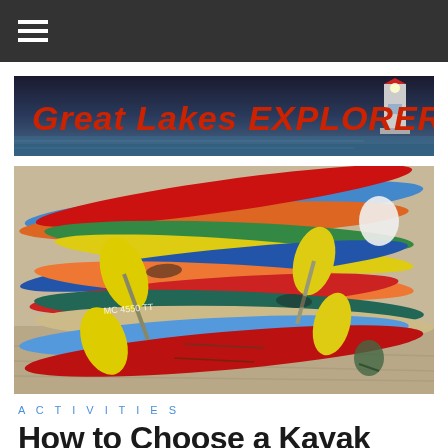≡ (hamburger menu)
[Figure (logo): Great Lakes EXPLORER website logo banner with lighthouse graphic on dark blue background]
[Figure (photo): Colorful kayaks stacked on top of each other on a beach — red, orange, blue, yellow, and green kayaks with paddles]
ACTIVITIES
How to Choose a Kayak
By Rich S. | July 30, 2017